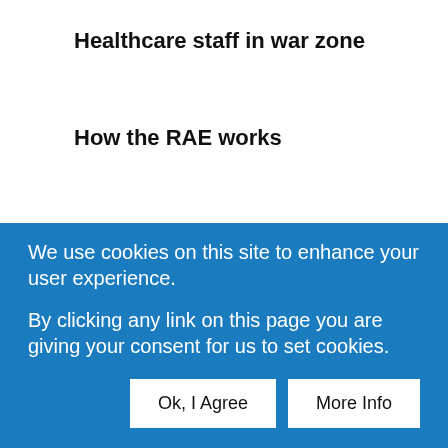Healthcare staff in war zone
How the RAE works
RCN Institute disputes 'slump'
Nursing research ranks last again
We use cookies on this site to enhance your user experience.
By clicking any link on this page you are giving your consent for us to set cookies.